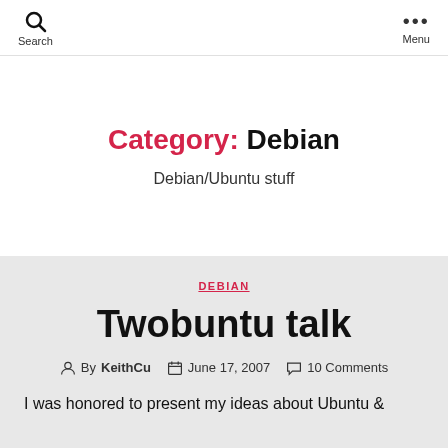Search  Menu
Category: Debian
Debian/Ubuntu stuff
DEBIAN
Twobuntu talk
By KeithCu  June 17, 2007  10 Comments
I was honored to present my ideas about Ubuntu &